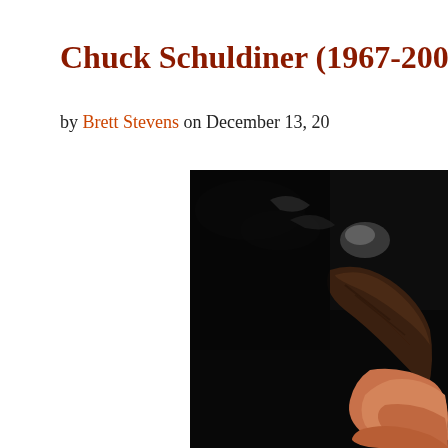Chuck Schuldiner (1967-2001)
by Brett Stevens on December 13, 20...
[Figure (photo): Black and white/color photograph of Chuck Schuldiner, showing his face and upper body in profile against a dark background, with shoulder-length brown hair.]